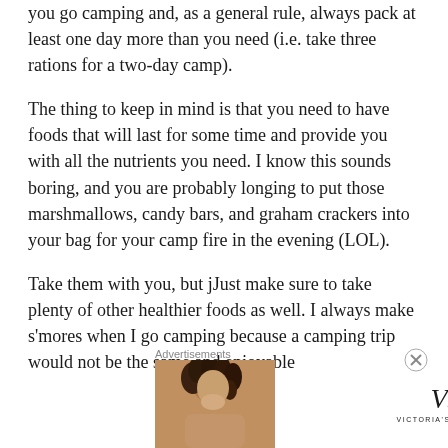you go camping and, as a general rule, always pack at least one day more than you need (i.e. take three rations for a two-day camp).
The thing to keep in mind is that you need to have foods that will last for some time and provide you with all the nutrients you need. I know this sounds boring, and you are probably longing to put those marshmallows, candy bars, and graham crackers into your bag for your camp fire in the evening (LOL).
Take them with you, but jJust make sure to take plenty of other healthier foods as well. I always make s'mores when I go camping because a camping trip would not be the same and enjoyable
[Figure (infographic): Victoria's Secret advertisement banner with a model photo on the left, VS logo in center, 'SHOP THE COLLECTION' text, and 'SHOP NOW' button on the right. Pink gradient background.]